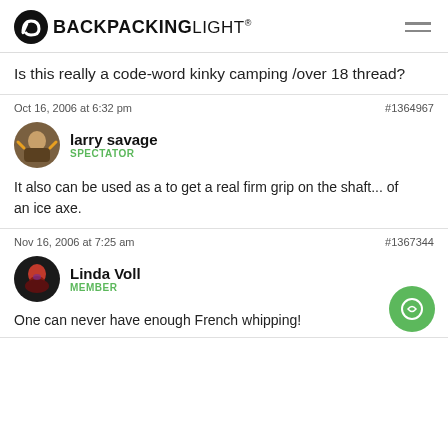BACKPACKINGLIGHT
Is this really a code-word kinky camping /over 18 thread?
Oct 16, 2006 at 6:32 pm  #1364967
larry savage SPECTATOR
It also can be used as a to get a real firm grip on the shaft... of an ice axe.
Nov 16, 2006 at 7:25 am  #1367344
Linda Voll MEMBER
One can never have enough French whipping!